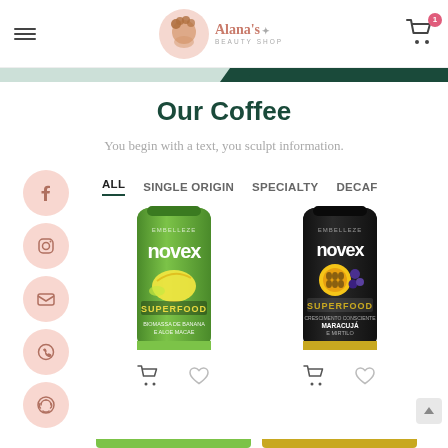Alana's Beauty Shop
Our Coffee
You begin with a text, you sculpt information.
ALL
SINGLE ORIGIN
SPECIALTY
DECAF
[Figure (photo): Novex Superfood green product - Biomassa de Banana e Aloe Macae]
[Figure (photo): Novex Superfood black product - Maracuja e Mirilo]